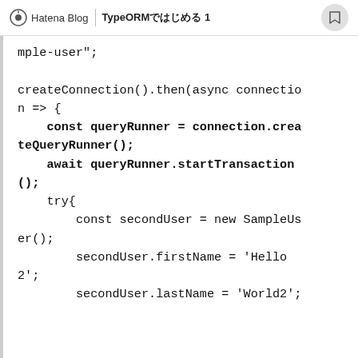Hatena Blog | TypeORMではじめる 1
mple-user";

createConnection().then(async connection => {
    const queryRunner = connection.createQueryRunner();
    await queryRunner.startTransaction();
    try{
        const secondUser = new SampleUser();
        secondUser.firstName = 'Hello 2';
        secondUser.lastName = 'World2';